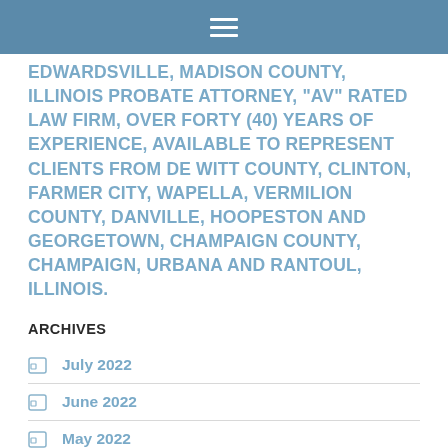EDWARDSVILLE, MADISON COUNTY, ILLINOIS PROBATE ATTORNEY, “AV” RATED LAW FIRM, OVER FORTY (40) YEARS OF EXPERIENCE, AVAILABLE TO REPRESENT CLIENTS FROM DE WITT COUNTY, CLINTON, FARMER CITY, WAPELLA, VERMILION COUNTY, DANVILLE, HOOPESTON AND GEORGETOWN, CHAMPAIGN COUNTY, CHAMPAIGN, URBANA AND RANTOUL, ILLINOIS.
ARCHIVES
July 2022
June 2022
May 2022